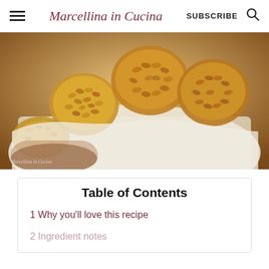Marcellina in Cucina | SUBSCRIBE
[Figure (photo): Pine nut cookies (pignoli) clustered in a white paper-lined bowl, held by hands, with a watermark reading 'Marcellina in Cucina']
Table of Contents
1 Why you'll love this recipe
2 Ingredient notes